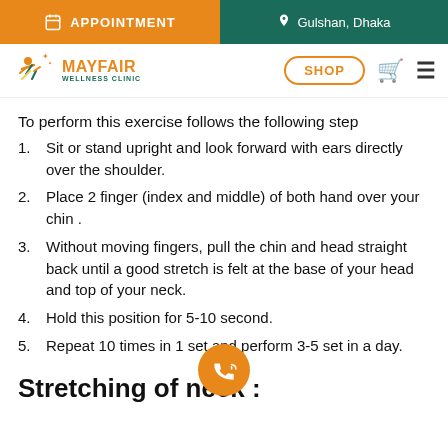APPOINTMENT | Gulshan, Dhaka
[Figure (logo): Mayfair Wellness Clinic logo with orange figure and teal text. Shop button, cart icon, and menu icon on the right.]
To perform this exercise follows the following step
1. Sit or stand upright and look forward with ears directly over the shoulder.
2. Place 2 finger (index and middle) of both hand over your chin .
3. Without moving fingers, pull the chin and head straight back until a good stretch is felt at the base of your head and top of your neck.
4. Hold this position for 5-10 second.
5. Repeat 10 times in 1 set and perform 3-5 set in a day.
Stretching of neck :